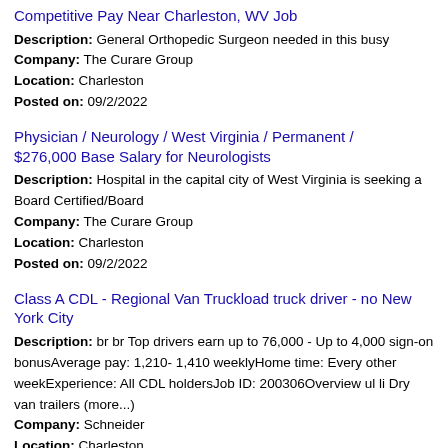Competitive Pay Near Charleston, WV Job
Description: General Orthopedic Surgeon needed in this busy Company: The Curare Group Location: Charleston Posted on: 09/2/2022
Physician / Neurology / West Virginia / Permanent / $276,000 Base Salary for Neurologists
Description: Hospital in the capital city of West Virginia is seeking a Board Certified/Board Company: The Curare Group Location: Charleston Posted on: 09/2/2022
Class A CDL - Regional Van Truckload truck driver - no New York City
Description: br br Top drivers earn up to 76,000 - Up to 4,000 sign-on bonusAverage pay: 1,210- 1,410 weeklyHome time: Every other weekExperience: All CDL holdersJob ID: 200306Overview ul li Dry van trailers (more...) Company: Schneider Location: Charleston Posted on: 09/2/2022